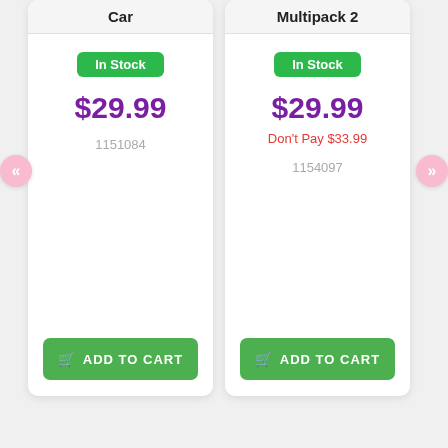Car
In Stock
$29.99
1151084
ADD TO CART
Multipack 2
In Stock
$29.99
Don't Pay $33.99
1154097
ADD TO CART